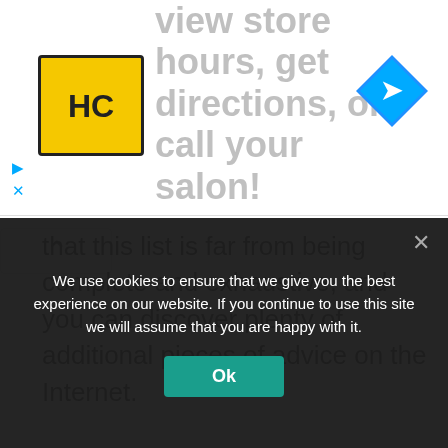[Figure (screenshot): Advertisement banner with HC logo and text 'view store hours, get directions, or call your salon!' with a blue direction arrow icon]
...that this list is far from being complete and exhaustive, and you can discover plenty of additional pieces of advice on the Internet.
Recent on WEF
[Figure (photo): Thumbnail photo of tornado damage / state of emergency]
State of Emergency Declared After Tornadoes
We use cookies to ensure that we give you the best experience on our website. If you continue to use this site we will assume that you are happy with it.